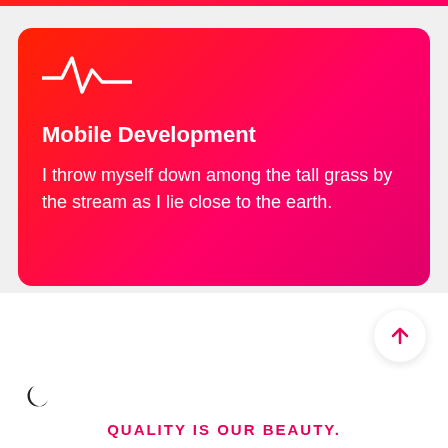[Figure (illustration): Red gradient card with pulse/heartbeat icon (waveform SVG), title and description text]
Mobile Development
I throw myself down among the tall grass by the stream as I lie close to the earth.
[Figure (illustration): Circular white scroll-to-top button with red upward arrow]
[Figure (illustration): Dark crescent moon icon]
QUALITY IS OUR BEAUTY.